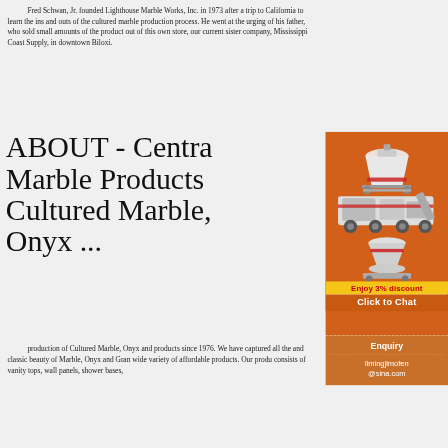Fred Schwan, Jr. founded Lighthouse Marble Works, Inc. in 1973 after a trip to California to learn the ins and outs of the cultured marble production process. He went at the urging of his father, who sold small amounts of the product out of this own store, our current sister company, Mississippi Coast Supply, in downtown Biloxi.
ABOUT - Central Marble Products Cultured Marble, Onyx ...
[Figure (photo): Orange advertisement banner showing industrial machinery (crushers/grinders) with text 'Enjoy 3% discount' in yellow and 'Click to Chat' in white on orange background, and an Enquiry section with email limingjlmofen@sina.com]
production of Cultured Marble, Onyx and products since 1976. We have captured all the and classic beauty of Marble, Onyx and Gran wide variety of affordable products. Our prod consists of vanity tops, wall panels, shower bases,